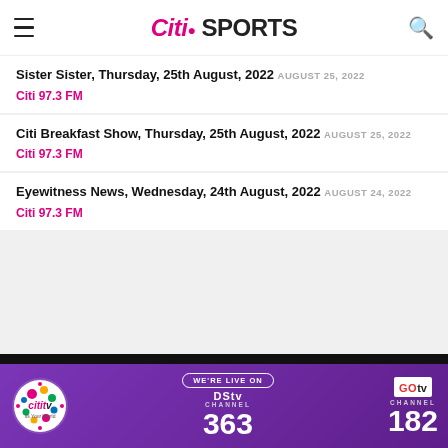Citi Sports
Sister Sister, Thursday, 25th August, 2022 AUGUST 25, 2022 Citi 97.3 FM
Citi Breakfast Show, Thursday, 25th August, 2022 AUGUST 25, 2022 Citi 97.3 FM
Eyewitness News, Wednesday, 24th August, 2022 AUGUST 24, 2022 Citi 97.3 FM
[Figure (infographic): Cititv banner ad: We're live on DStv Channel 363 and GOtv Channel 182]